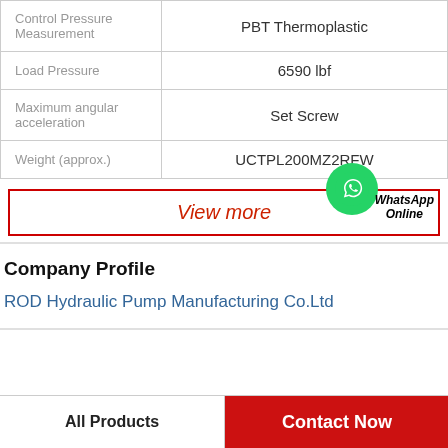| Property | Value |
| --- | --- |
| Control Pressure Measurement | PBT Thermoplastic |
| Load Pressure | 6590 lbf |
| Maximum angular acceleration | Set Screw |
| Weight (approx.) | UCTPL200MZ2RFW |
View more
WhatsApp Online
Company Profile
ROD Hydraulic Pump Manufacturing Co.Ltd
All Products
Contact Now